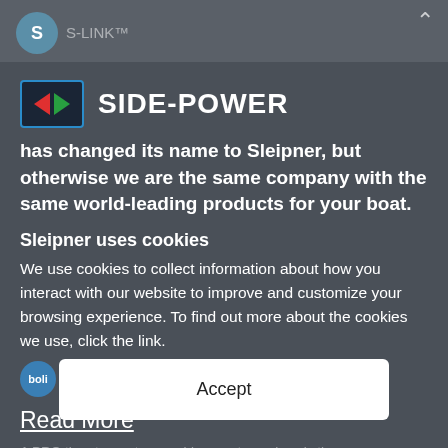[Figure (logo): Side-Power logo with left red arrow and right green arrow on dark background, with text SIDE-POWER]
has changed its name to Sleipner, but otherwise we are the same company with the same world-leading products for your boat.
Sleipner uses cookies
We use cookies to collect information about how you interact with our website to improve and customize your browsing experience. To find out more about the cookies we use, click the link.
Read More
Accept